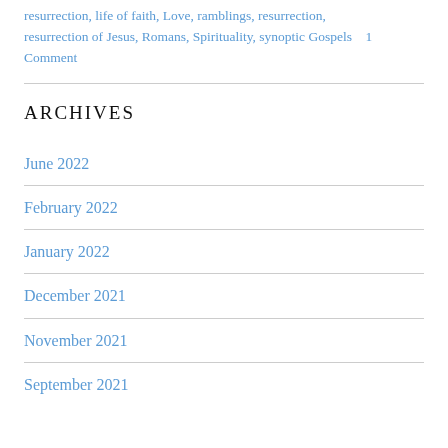resurrection, life of faith, Love, ramblings, resurrection, resurrection of Jesus, Romans, Spirituality, synoptic Gospels  1 Comment
ARCHIVES
June 2022
February 2022
January 2022
December 2021
November 2021
September 2021